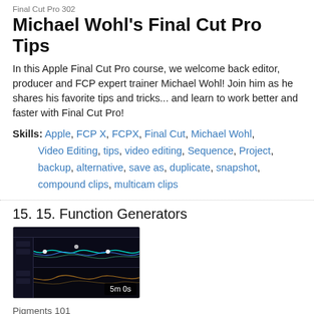Final Cut Pro 302
Michael Wohl's Final Cut Pro Tips
In this Apple Final Cut Pro course, we welcome back editor, producer and FCP expert trainer Michael Wohl! Join him as he shares his favorite tips and tricks... and learn to work better and faster with Final Cut Pro!
Skills: Apple, FCP X, FCPX, Final Cut, Michael Wohl, Video Editing, tips, video editing, Sequence, Project, backup, alternative, save as, duplicate, snapshot, compound clips, multicam clips
15. 15. Function Generators
[Figure (screenshot): Dark UI screenshot of a synthesizer/waveform software with blue wave patterns on a dark background. Duration badge shows 5m 0s.]
Pigments 101
Pigments - The Video Manual
Arturia's Pigments combines vintage FM and analog sounds with modern wavetable synthesis. It's one of the most innovative and powerful software instrument available... so learn everything